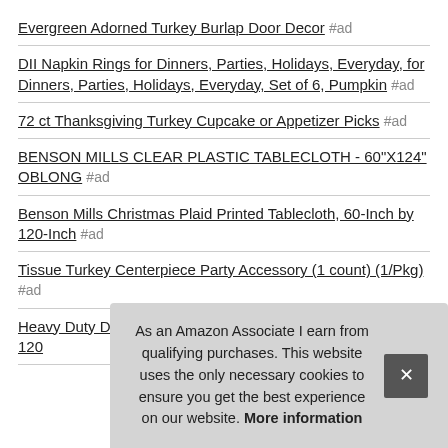Evergreen Adorned Turkey Burlap Door Decor #ad
DII Napkin Rings for Dinners, Parties, Holidays, Everyday, for Dinners, Parties, Holidays, Everyday, Set of 6, Pumpkin #ad
72 ct Thanksgiving Turkey Cupcake or Appetizer Picks #ad
BENSON MILLS CLEAR PLASTIC TABLECLOTH - 60"X124" OBLONG #ad
Benson Mills Christmas Plaid Printed Tablecloth, 60-Inch by 120-Inch #ad
Tissue Turkey Centerpiece Party Accessory (1 count) (1/Pkg) #ad
Heavy Duty Deluxe Clear Vinyl Tablecloth Protector (60" X 120
As an Amazon Associate I earn from qualifying purchases. This website uses the only necessary cookies to ensure you get the best experience on our website. More information